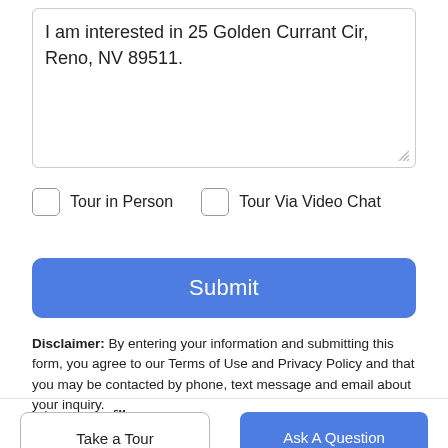I am interested in 25 Golden Currant Cir, Reno, NV 89511.
Tour in Person
Tour Via Video Chat
Submit
Disclaimer: By entering your information and submitting this form, you agree to our Terms of Use and Privacy Policy and that you may be contacted by phone, text message and email about your inquiry.
[Figure (logo): Broker Reciprocity logo with house icon]
Take a Tour
Ask A Question